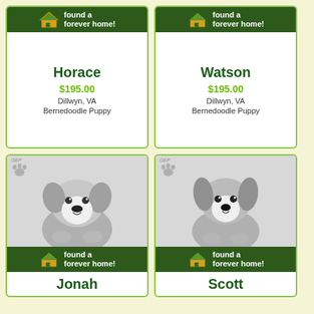[Figure (infographic): Pet adoption card for Horace - found a forever home banner, name, price $195.00, location Dillwyn VA, breed Bernedoodle Puppy]
[Figure (infographic): Pet adoption card for Watson - found a forever home banner, name, price $195.00, location Dillwyn VA, breed Bernedoodle Puppy]
[Figure (infographic): Pet adoption card for Jonah - puppy photo, found a forever home banner, name, price $750.00, location Baltic OH, breed Bernedoodle Puppy]
[Figure (infographic): Pet adoption card for Scott - puppy photo, found a forever home banner, name, price $750.00, location Baltic OH, breed Bernedoodle Puppy]